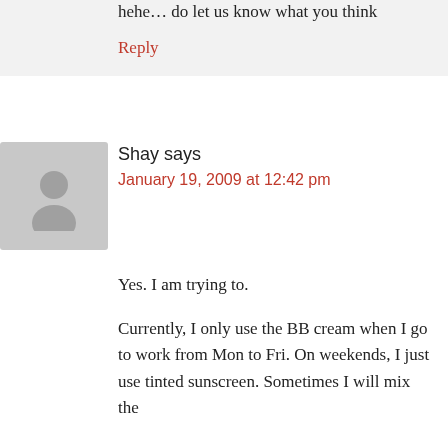hehe… do let us know what you think
Reply
Shay says
January 19, 2009 at 12:42 pm
Yes. I am trying to.
Currently, I only use the BB cream when I go to work from Mon to Fri. On weekends, I just use tinted sunscreen. Sometimes I will mix the